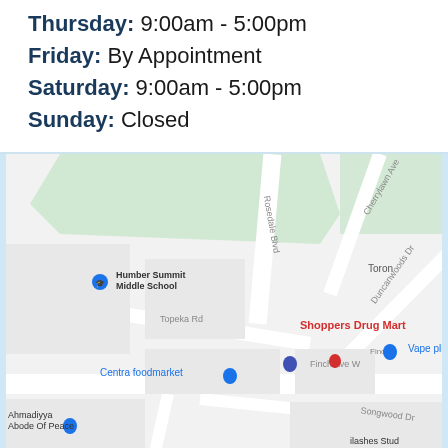Thursday: 9:00am - 5:00pm
Friday: By Appointment
Saturday: 9:00am - 5:00pm
Sunday: Closed
[Figure (map): Google Maps showing the area around Shoppers Drug Mart near Finch Ave W and Topeka Rd in Toronto. Landmarks include Humber Summit Middle School, Centra foodmarket, Vape plus, Ahmadiyya Abode Of Peace. Streets visible: Topeka Rd, Finch Ave W, Duncanwoods Dr, Cherrylawn Ave, Songwood Dr, Rosedale Blvd.]